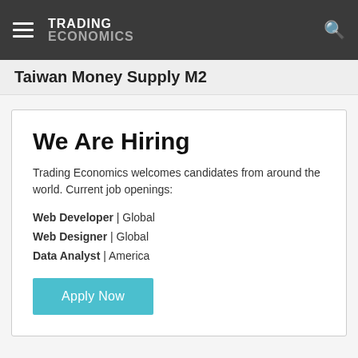TRADING ECONOMICS
Taiwan Money Supply M2
We Are Hiring
Trading Economics welcomes candidates from around the world. Current job openings:
Web Developer | Global
Web Designer | Global
Data Analyst | America
Apply Now